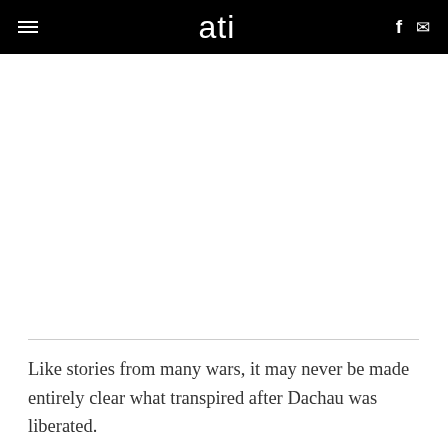≡ ati f ✉
Like stories from many wars, it may never be made entirely clear what transpired after Dachau was liberated.